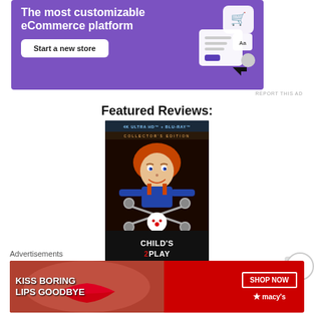[Figure (screenshot): Purple eCommerce platform advertisement banner with text 'The most customizable eCommerce platform', a 'Start a new store' button, and an illustration of a shopping cart UI on the right]
REPORT THIS AD
Featured Reviews:
[Figure (photo): Child's Play 2 movie cover - 4K Ultra HD + Blu-ray Collector's Edition showing Chucky doll with scissors]
Advertisements
[Figure (screenshot): Macy's advertisement banner in red with text 'KISS BORING LIPS GOODBYE' and 'SHOP NOW' button with Macy's logo]